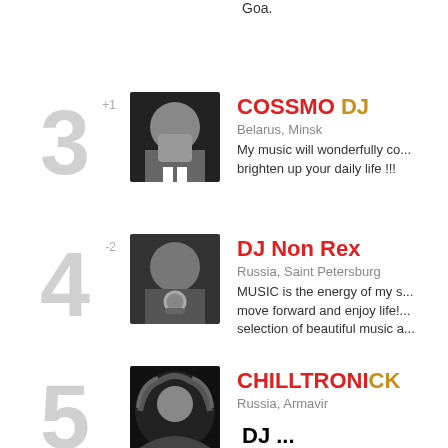Goa.
3 +1 COSSMO DJ — Belarus, Minsk — My music will wonderfully co... brighten up your daily life !!!
4 -2 DJ Non Rex — Russia, Saint Petersburg — MUSIC is the energy of my s... move forward and enjoy life!... selection of beautiful music a...
5 CHILLTRONICK — Russia, Armavir
DJ ...